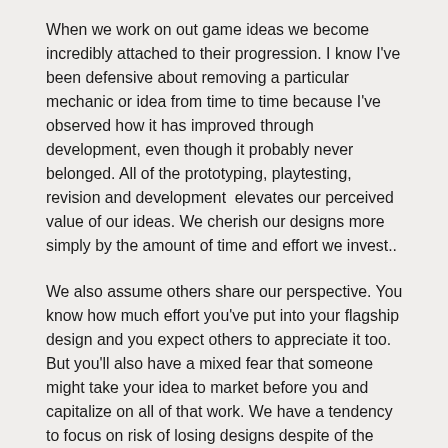When we work on out game ideas we become incredibly attached to their progression. I know I've been defensive about removing a particular mechanic or idea from time to time because I've observed how it has improved through development, even though it probably never belonged. All of the prototyping, playtesting, revision and development  elevates our perceived value of our ideas. We cherish our designs more simply by the amount of time and effort we invest..
We also assume others share our perspective. You know how much effort you've put into your flagship design and you expect others to appreciate it too. But you'll also have a mixed fear that someone might take your idea to market before you and capitalize on all of that work. We have a tendency to focus on risk of losing designs despite of the benefit of getting our work in the hands of others (a frequent goal of game designers to begin with – why are we trying to avoid this?).
We can really find much greater benefit sharing our ideas with other brilliant designers and receiving the critical feedback that can turn our ideas from good to great.